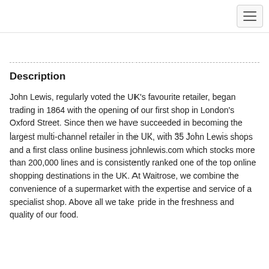Description
John Lewis, regularly voted the UK's favourite retailer, began trading in 1864 with the opening of our first shop in London's Oxford Street. Since then we have succeeded in becoming the largest multi-channel retailer in the UK, with 35 John Lewis shops and a first class online business johnlewis.com which stocks more than 200,000 lines and is consistently ranked one of the top online shopping destinations in the UK. At Waitrose, we combine the convenience of a supermarket with the expertise and service of a specialist shop. Above all we take pride in the freshness and quality of our food.